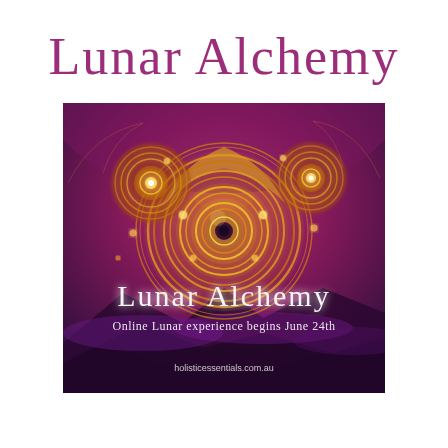Lunar Alchemy
[Figure (illustration): A fractal mandala artwork with deep purple/magenta background featuring an ornate golden circular mandala pattern in the center with smaller mandala motifs above. Text overlay reads 'Lunar Alchemy' in cursive white script, subtitle 'Online Lunar experience begins June 24th', and website 'holisticessentials.com.au' at the bottom.]